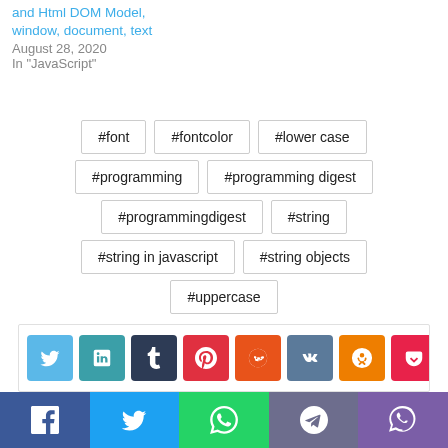and Html DOM Model, window, document, text
August 28, 2020
In "JavaScript"
#font
#fontcolor
#lower case
#programming
#programming digest
#programmingdigest
#string
#string in javascript
#string objects
#uppercase
[Figure (infographic): Social share buttons row: Twitter (light blue), LinkedIn (teal), Tumblr (dark blue), Pinterest (red), Reddit (orange-red), VK (dark blue-grey), Odnoklassniki (orange), Pocket (pink-red), and a scroll-up arrow button]